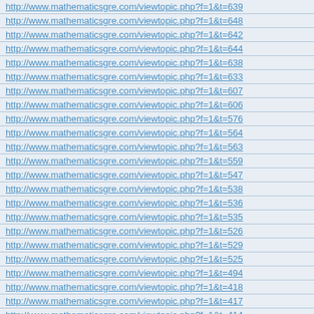http://www.mathematicsgre.com/viewtopic.php?f=1&t=639
http://www.mathematicsgre.com/viewtopic.php?f=1&t=648
http://www.mathematicsgre.com/viewtopic.php?f=1&t=642
http://www.mathematicsgre.com/viewtopic.php?f=1&t=644
http://www.mathematicsgre.com/viewtopic.php?f=1&t=638
http://www.mathematicsgre.com/viewtopic.php?f=1&t=633
http://www.mathematicsgre.com/viewtopic.php?f=1&t=607
http://www.mathematicsgre.com/viewtopic.php?f=1&t=606
http://www.mathematicsgre.com/viewtopic.php?f=1&t=576
http://www.mathematicsgre.com/viewtopic.php?f=1&t=564
http://www.mathematicsgre.com/viewtopic.php?f=1&t=563
http://www.mathematicsgre.com/viewtopic.php?f=1&t=559
http://www.mathematicsgre.com/viewtopic.php?f=1&t=547
http://www.mathematicsgre.com/viewtopic.php?f=1&t=538
http://www.mathematicsgre.com/viewtopic.php?f=1&t=536
http://www.mathematicsgre.com/viewtopic.php?f=1&t=535
http://www.mathematicsgre.com/viewtopic.php?f=1&t=526
http://www.mathematicsgre.com/viewtopic.php?f=1&t=529
http://www.mathematicsgre.com/viewtopic.php?f=1&t=525
http://www.mathematicsgre.com/viewtopic.php?f=1&t=494
http://www.mathematicsgre.com/viewtopic.php?f=1&t=418
http://www.mathematicsgre.com/viewtopic.php?f=1&t=417
http://www.mathematicsgre.com/viewtopic.php?f=1&t=414